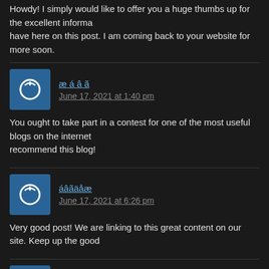Howdy! I simply would like to offer you a huge thumbs up for the excellent informa have here on this post. I am coming back to your website for more soon.
□□□□
June 17, 2021 at 1:40 pm
You ought to take part in a contest for one of the most useful blogs on the internet recommend this blog!
□□□□□□
June 17, 2021 at 6:26 pm
Very good post! We are linking to this great content on our site. Keep up the good
Men's Half T-shirt
June 17, 2021 at 7:20 pm
I have recently started a blog, the info you offer on this web site has helped me tremendously. Thanks for all of your time & work. "There can be no real freedom w freedom to fail." by Erich Fromm.